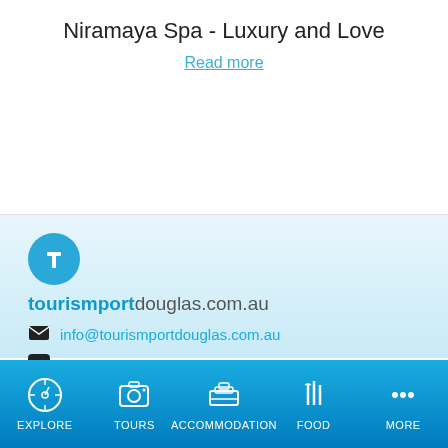Niramaya Spa - Luxury and Love
Read more
[Figure (logo): Tourism Port Douglas circular logo with letter t]
tourismportdouglas.com.au
info@tourismportdouglas.com.au
Facebook - Port Douglas
EXPLORE  TOURS  ACCOMMODATION  FOOD  MORE